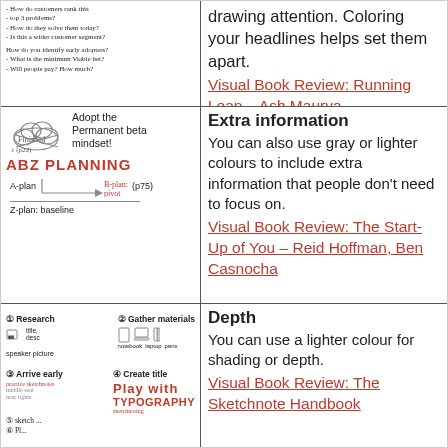[Figure (illustration): Handwritten notes in left cell of row 1: bullet list of questions about customers, problems, solutions]
drawing attention. Coloring your headlines helps set them apart.
Visual Book Review: Running Lean – Ash Maurya
[Figure (illustration): Sketchnote left cell row 2: cloud shape with 'Finished' crossed out, 'Adopt the Permanent beta mindset!', 'ABZ PLANNING' in red, A-plan, B-plan: pivot (p75), Z-plan: baseline]
Extra information
You can also use gray or lighter colours to include extra information that people don't need to focus on.
Visual Book Review: The Start-Up of You – Reid Hoffman, Ben Casnocha
[Figure (illustration): Sketchnote left cell row 3: Research (speaker picture, title, desc), Gather materials (notebook, laptop, pens), Arrive early, Create title (Play with TYPOGRAPHY)]
Depth
You can use a lighter colour for shading or depth.
Visual Book Review: The Sketchnote Handbook